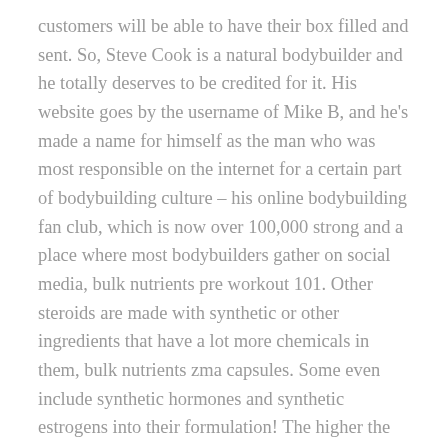customers will be able to have their box filled and sent. So, Steve Cook is a natural bodybuilder and he totally deserves to be credited for it. His website goes by the username of Mike B, and he's made a name for himself as the man who was most responsible on the internet for a certain part of bodybuilding culture – his online bodybuilding fan club, which is now over 100,000 strong and a place where most bodybuilders gather on social media, bulk nutrients pre workout 101. Other steroids are made with synthetic or other ingredients that have a lot more chemicals in them, bulk nutrients zma capsules. Some even include synthetic hormones and synthetic estrogens into their formulation! The higher the cost, the lower the quality of the supplements. What is the difference between ipamorelin powder and injectable There is no difference between the powder and injectable forms., bulk nutrients fat burner. A standard 2-gram (200-mg) vial contains two 30-mg (60